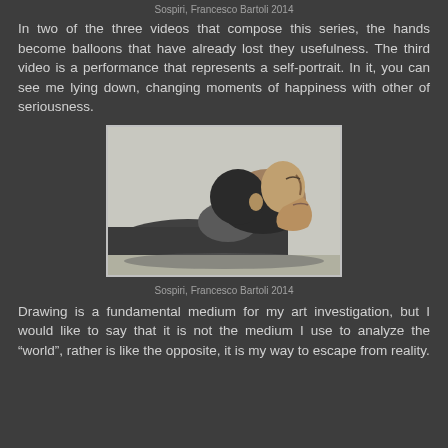Sospiri, Francesco Bartoli 2014
In two of the three videos that compose this series, the hands become balloons that have already lost they usefulness. The third video is a performance that represents a self-portrait. In it, you can see me lying down, changing moments of happiness with other of seriousness.
[Figure (photo): Black and white photograph of a person lying down, viewed from the side, with head tilted back]
Sospiri, Francesco Bartoli 2014
Drawing is a fundamental medium for my art investigation, but I would like to say that it is not the medium I use to analyze the “world”, rather is like the opposite, it is my way to escape from reality.